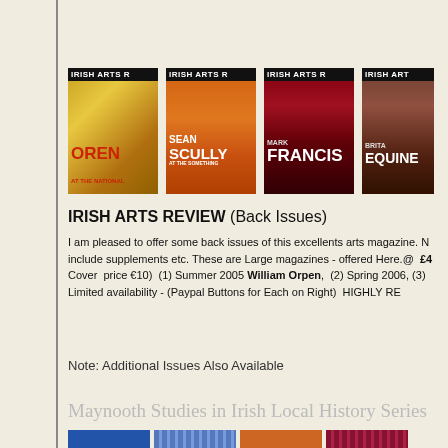[Figure (photo): Four Irish Arts Review magazine covers shown side by side: (1) Summer 2005 William Orpen issue with orange/yellow background and portrait, (2) Spring 2006 Sean Scully issue with orange squares, (3) Mark Francis issue with dark red background, (4) Equine issue partially cropped on right]
IRISH ARTS REVIEW (Back Issues)
I am pleased to offer some back issues of this excellents arts magazine. N include supplements etc. These are Large magazines - offered Here.@  £4 Cover  price €10)  (1) Summer 2005 William Orpen,  (2) Spring 2006, (3) Limited availability - (Paypal Buttons for Each on Right)  HIGHLY RE
Note: Additional Issues Also Available
Maynooth Studies in Irish Local History Series
[Figure (photo): Four book covers from Maynooth Studies in Irish Local History Series, partially visible at bottom: blue cover, dotted blue cover, orange cover, dotted maroon cover]